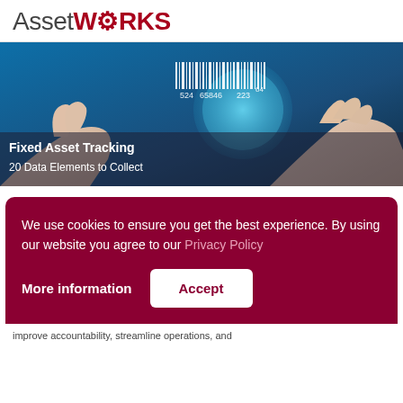AssetWORKS
[Figure (photo): Hand holding a glowing digital globe with barcode numbers 524 65846 223 64 floating above it, on a blue background. Text overlay reads: Fixed Asset Tracking — 20 Data Elements to Collect]
We use cookies to ensure you get the best experience. By using our website you agree to our Privacy Policy
More information
Accept
improve accountability, streamline operations, and